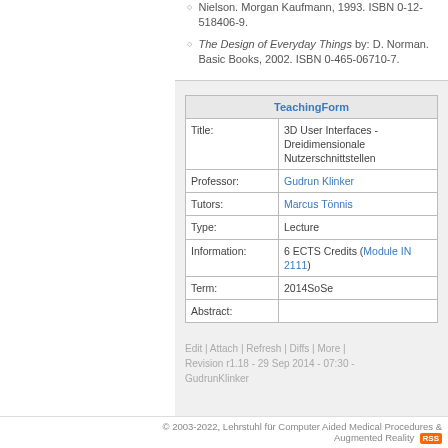Usability Engineering by J. Nielson. Morgan Kaufmann, 1993. ISBN 0-12-518406-9.
The Design of Everyday Things by: D. Norman. Basic Books, 2002. ISBN 0-465-06710-7.
| TeachingForm |  |
| --- | --- |
| Title: | 3D User Interfaces - Dreidimensionale Nutzerschnittstellen |
| Professor: | Gudrun Klinker |
| Tutors: | Marcus Tönnis |
| Type: | Lecture |
| Information: | 6 ECTS Credits (Module IN 2111) |
| Term: | 2014SoSe |
| Abstract: |  |
Edit | Attach | Refresh | Diffs | More | Revision r1.18 - 29 Sep 2014 - 07:30 - GudrunKlinker
© 2003-2022, Lehrstuhl für Computer Aided Medical Procedures & Augmented Reality RSS